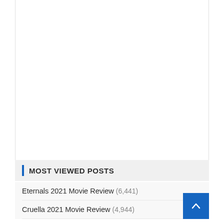MOST VIEWED POSTS
Eternals 2021 Movie Review (6,441)
Cruella 2021 Movie Review (4,944)